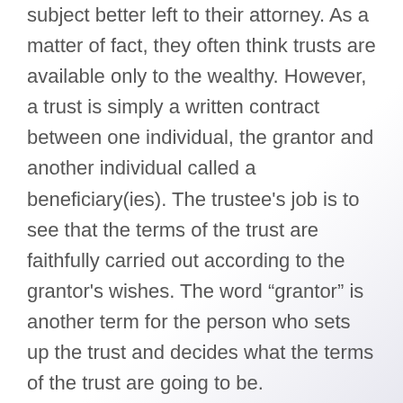subject better left to their attorney. As a matter of fact, they often think trusts are available only to the wealthy. However, a trust is simply a written contract between one individual, the grantor and another individual called a beneficiary(ies). The trustee's job is to see that the terms of the trust are faithfully carried out according to the grantor's wishes. The word “grantor” is another term for the person who sets up the trust and decides what the terms of the trust are going to be.
A trust helps to ensure your assets and your wishes are distributed how you want and when you want. As such, creating a trust can ensure